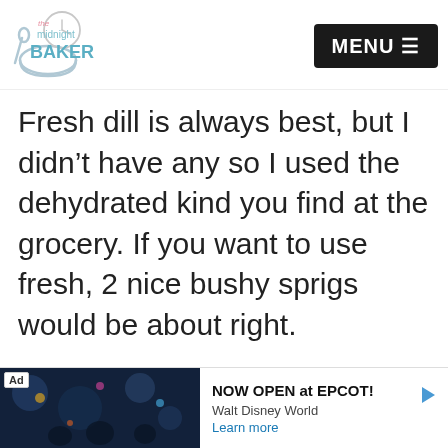The Midnight Baker — MENU
Fresh dill is always best, but I didn't have any so I used the dehydrated kind you find at the grocery. If you want to use fresh, 2 nice bushy sprigs would be about right.
[Figure (screenshot): Advertisement banner: dark image with 'Ad' label, text 'NOW OPEN at EPCOT! Walt Disney World', with Learn more link and play arrow icon]